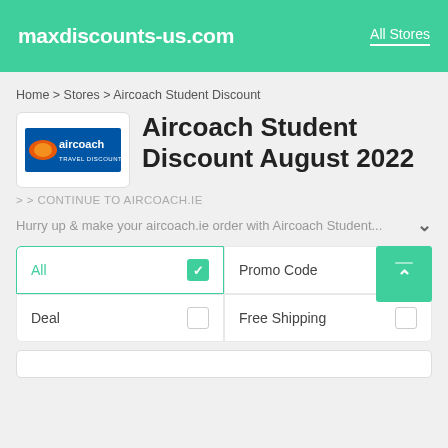maxdiscounts-us.com   All Stores
Home > Stores > Aircoach Student Discount
Aircoach Student Discount August 2022
> > CONTINUE TO AIRCOACH.IE
Hurry up & make your aircoach.ie order with Aircoach Student...
All   Promo Code   Deal   Free Shipping